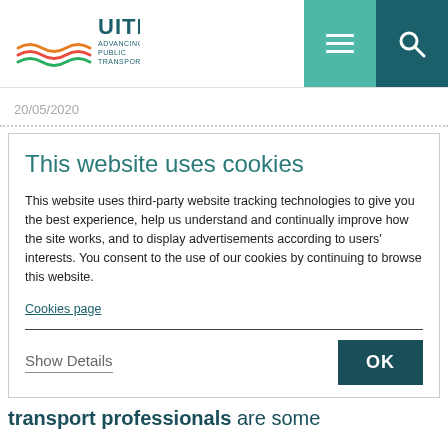UITP ADVANCING PUBLIC TRANSPORT
20/05/2020
This website uses cookies
This website uses third-party website tracking technologies to give you the best experience, help us understand and continually improve how the site works, and to display advertisements according to users' interests. You consent to the use of our cookies by continuing to browse this website.
Cookies page
Show Details
OK
transport professionals are some